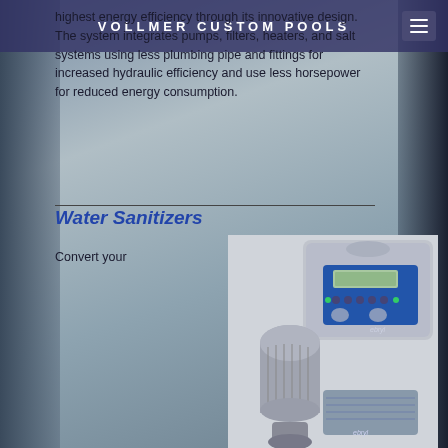VOLLMER CUSTOM POOLS
highest energy efficiency through its innovative design. The system integrates pumps, filters, heaters, and salt systems using less plumbing pipe and fittings for increased hydraulic efficiency and use less horsepower for reduced energy consumption.
Water Sanitizers
Convert your
[Figure (photo): A pool water sanitizer device - salt chlorine generator with digital control panel and cell unit, branded product (Zodiac/Jandy or similar)]